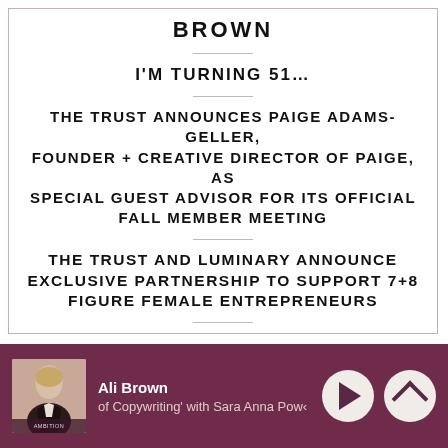BROWN
I'M TURNING 51…
THE TRUST ANNOUNCES PAIGE ADAMS-GELLER, FOUNDER + CREATIVE DIRECTOR OF PAIGE, AS SPECIAL GUEST ADVISOR FOR ITS OFFICIAL FALL MEMBER MEETING
THE TRUST AND LUMINARY ANNOUNCE EXCLUSIVE PARTNERSHIP TO SUPPORT 7+8 FIGURE FEMALE ENTREPRENEURS
Ali Brown
of Copywriting' with Sara Anna Powe